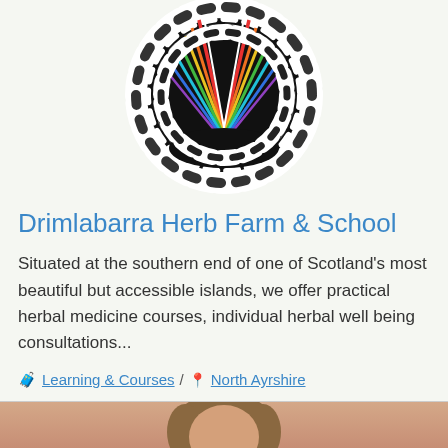[Figure (logo): Circular Celtic knotwork logo with colorful striped star/chevron pattern in center on black background, white braided border]
Drimlabarra Herb Farm & School
Situated at the southern end of one of Scotland's most beautiful but accessible islands, we offer practical herbal medicine courses, individual herbal well being consultations...
🧳 Learning & Courses / 📍 North Ayrshire
[Figure (photo): Partial photo of a person (head/shoulders) with light brown hair, warm skin tones, beige/tan background]